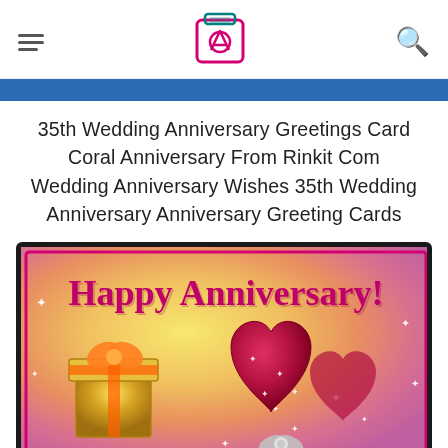Navigation header with hamburger menu, image logo icon, and search icon
35th Wedding Anniversary Greetings Card Coral Anniversary From Rinkit Com Wedding Anniversary Wishes 35th Wedding Anniversary Anniversary Greeting Cards
[Figure (illustration): Anniversary greeting card with 'Happy Anniversary!' text in pink cursive script on a warm golden-pink gradient background, featuring a gold gift box on the left and large red heart shapes on the right with sparkle effects and a silver bow at the bottom.]